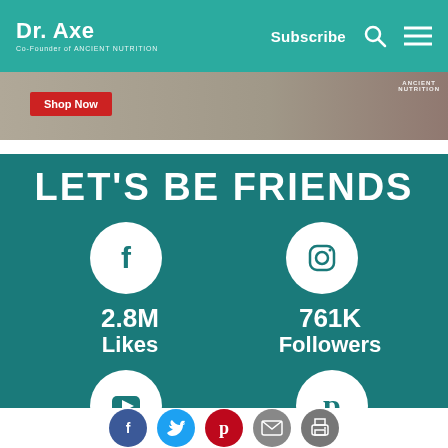Dr. Axe — Co-Founder of Ancient Nutrition | Subscribe
[Figure (screenshot): Banner advertisement with Shop Now button and person using phone, Ancient Nutrition logo]
LET'S BE FRIENDS
[Figure (infographic): Facebook icon circle — 2.8M Likes]
2.8M Likes
[Figure (infographic): Instagram icon circle — 761K Followers]
761K Followers
[Figure (infographic): YouTube icon circle (partially visible)]
[Figure (infographic): Pinterest icon circle (partially visible)]
Social share icons: Facebook, Twitter, Pinterest, Email, Print